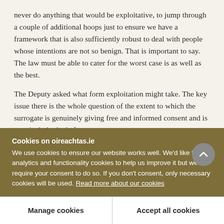never do anything that would be exploitative, to jump through a couple of additional hoops just to ensure we have a framework that is also sufficiently robust to deal with people whose intentions are not so benign. That is important to say. The law must be able to cater for the worst case is as well as the best.
The Deputy asked what form exploitation might take. The key issue there is the whole question of the extent to which the surrogate is genuinely giving free and informed consent and is genuinely looked after
Cookies on oireachtas.ie
We use cookies to ensure our website works well. We'd like to use analytics and functionality cookies to help us improve it but we require your consent to do so. If you don't consent, only necessary cookies will be used. Read more about our cookies
Manage cookies
Accept all cookies